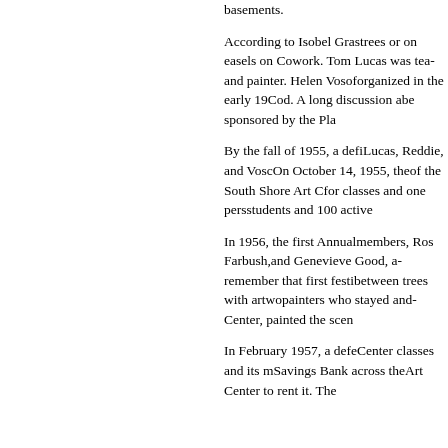basements.
According to Isobel Gras trees or on easels on Co work. Tom Lucas was tea and painter. Helen Vosof organized in the early 19 Cod. A long discussion a be sponsored by the Pla
By the fall of 1955, a defi Lucas, Reddie, and Vosc On October 14, 1955, the of the South Shore Art C for classes and one pers students and 100 active
In 1956, the first Annual members, Ros Farbush, and Genevieve Good, a remember that first festi between trees with artwo painters who stayed and Center, painted the scen
In February 1957, a defe Center classes and its m Savings Bank across the Art Center to rent it. The